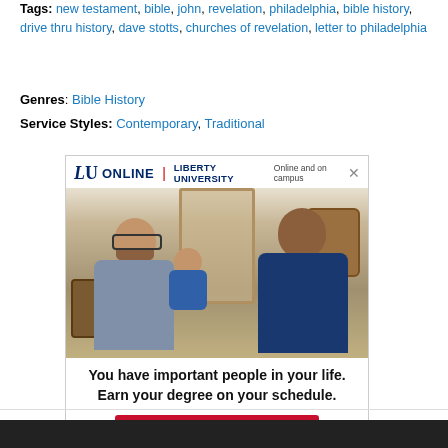Tags: new testament, bible, john, revelation, philadelphia, bible history, drive thru history, dave stotts, churches of revelation, letter to philadelphia
Genres: Bible History
Service Styles: Contemporary, Traditional
[Figure (photo): Liberty University Online advertisement featuring a smiling family (man with glasses and beard, woman, and baby) with text 'You have important people in your life. Earn your degree on your schedule.' and a red APPLY NOW button]